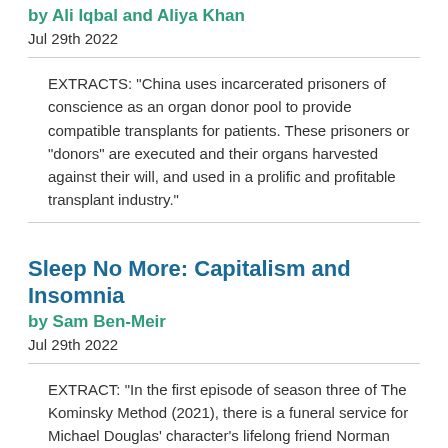by Ali Iqbal and Aliya Khan
Jul 29th 2022
EXTRACTS: "China uses incarcerated prisoners of conscience as an organ donor pool to provide compatible transplants for patients. These prisoners or "donors" are executed and their organs harvested against their will, and used in a prolific and profitable transplant industry."
Sleep No More: Capitalism and Insomnia
by Sam Ben-Meir
Jul 29th 2022
EXTRACT: "In the first episode of season three of The Kominsky Method (2021), there is a funeral service for Michael Douglas' character's lifelong friend Norman Newlander (played by Alan Arkin). By far the most inconsolable mourner to give a eulogy is Newlander's personal assistant of 22 years who, amid a hyperbolical outpouring of grief